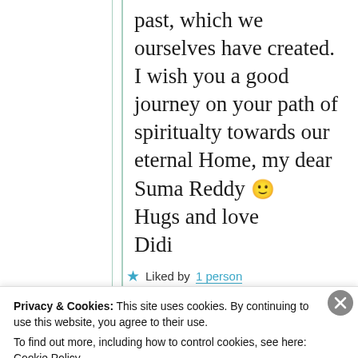past, which we ourselves have created. I wish you a good journey on your path of spiritualty towards our eternal Home, my dear Suma Reddy 🙂 Hugs and love Didi
★ Liked by 1 person
Privacy & Cookies: This site uses cookies. By continuing to use this website, you agree to their use. To find out more, including how to control cookies, see here: Cookie Policy
Close and accept